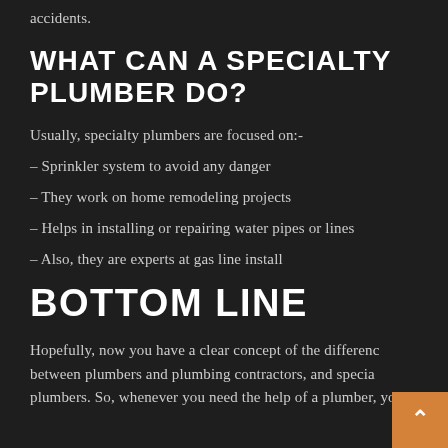accidents.
WHAT CAN A SPECIALTY PLUMBER DO?
Usually, specialty plumbers are focused on:-
– Sprinkler system to avoid any danger
– They work on home remodeling projects
– Helps in installing or repairing water pipes or lines
– Also, they are experts at gas line install
BOTTOM LINE
Hopefully, now you have a clear concept of the difference between plumbers and plumbing contractors, and specialty plumbers. So, whenever you need the help of a plumber, you